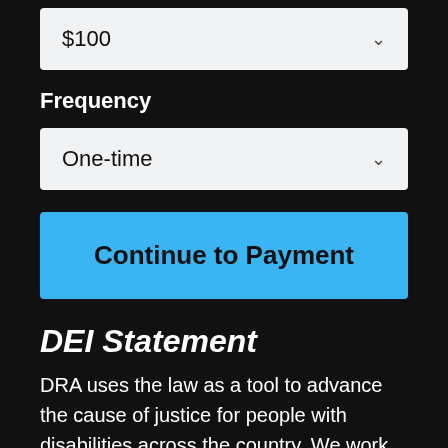$100
Frequency
One-time
Continue to Payment
DEI Statement
DRA uses the law as a tool to advance the cause of justice for people with disabilities across the country. We work with people with all types of disabilities to promote and ensure